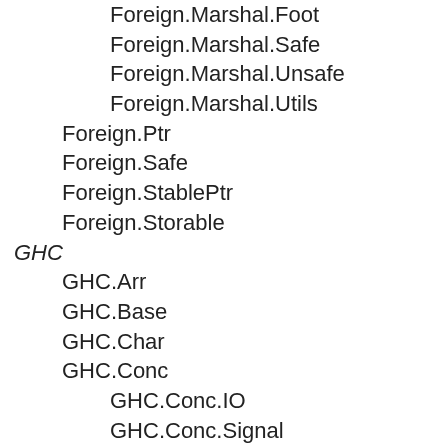Foreign.Marshal.Foot
Foreign.Marshal.Safe
Foreign.Marshal.Unsafe
Foreign.Marshal.Utils
Foreign.Ptr
Foreign.Safe
Foreign.StablePtr
Foreign.Storable
GHC
GHC.Arr
GHC.Base
GHC.Char
GHC.Conc
GHC.Conc.IO
GHC.Conc.Signal
GHC.Conc.Sync
GHC.Conc.Windows
GHC.ConsoleHandler
GHC.Constants